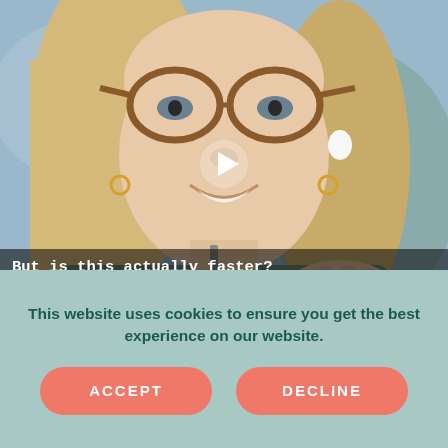[Figure (photo): Close-up photo of a blonde woman with large tortoiseshell glasses and white earbuds, smiling, wearing a grey-green sweater, with a blurred outdoor background. A white play button triangle is overlaid in the center.]
But is this actually faster?
Compared to other fats or longer tried glycerides,
This website uses cookies to ensure you get the best experience on our website.
ACCEPT
DECLINE